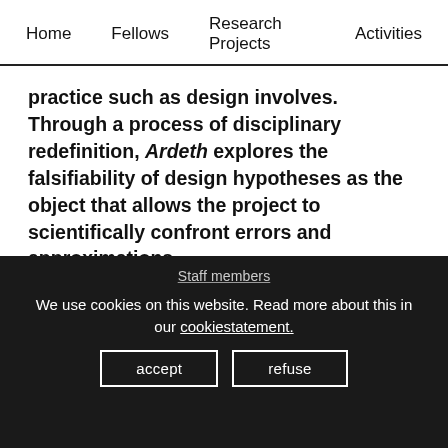Home   Fellows   Research Projects   Activities
practice such as design involves. Through a process of disciplinary redefinition, Ardeth explores the falsifiability of design hypotheses as the object that allows the project to scientifically confront errors and approximations.
share [Twitter icon] [Facebook icon] [Email icon]
Staff members
We use cookies on this website. Read more about this in our cookiestatement.
accept   refuse